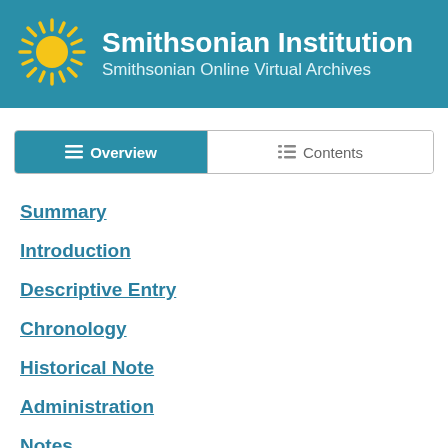Smithsonian Institution — Smithsonian Online Virtual Archives
Overview | Contents
Summary
Introduction
Descriptive Entry
Chronology
Historical Note
Administration
Notes